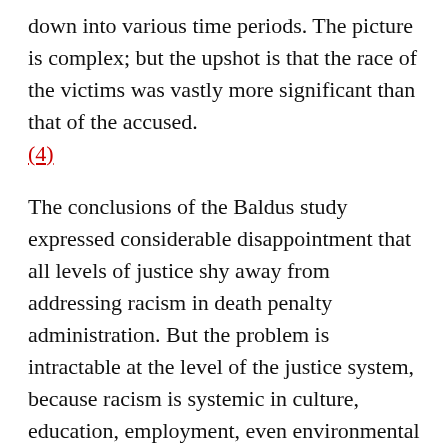down into various time periods. The picture is complex; but the upshot is that the race of the victims was vastly more significant than that of the accused. (4)
The conclusions of the Baldus study expressed considerable disappointment that all levels of justice shy away from addressing racism in death penalty administration. But the problem is intractable at the level of the justice system, because racism is systemic in culture, education, employment, even environmental factors.
The conclusions of the Baldus 1998 study raise some intriguing insights as to why racism in death penalty administration has become a near-intractable problem. The reasons are hidden in history (as sketched above) and in the chain of decisions that lead eventually to the death penalty and the execution of a defendant.